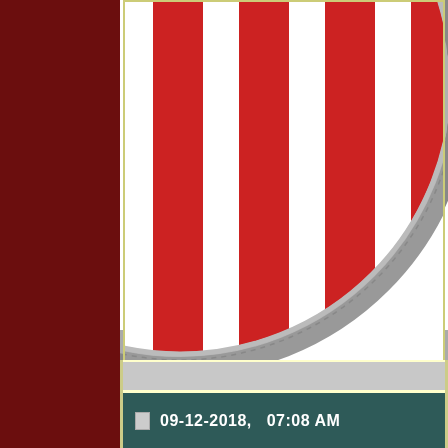[Figure (photo): Close-up photo of a red and white vertical-striped circular car grille or emblem with a metallic silver border, cropped to show mainly the right half and bottom of the circular emblem against a white background.]
I am a shield and I am a sword.

Feck your free pens Mr. Presidents.
09-12-2018,   07:08 AM